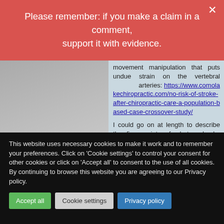Please remember: if you make a claim in a comment, support it with evidence.
movement manipulation that puts undue strain on the vertebral arteries: https://www.comolakechiropractice.com/no-risk-of-stroke-after-chiropractic-care-a-population-based-case-crossover-study/
I could go on at length to describe the finer points of what and why manipulation can cause a stroke.
Of course this is fortunately a
This website uses necessary cookies to make it work and to remember your preferences. Click on 'Cookie settings' to control your consent for other cookies or click on 'Accept all' to consent to the use of all cookies. By continuing to browse this website you are agreeing to our Privacy policy.
Accept all
Cookie settings
Privacy policy